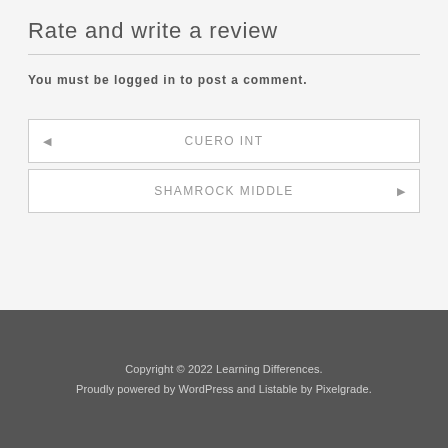Rate and write a review
You must be logged in to post a comment.
◄  CUERO INT
SHAMROCK MIDDLE  ►
Copyright © 2022 Learning Differences.
Proudly powered by WordPress and Listable by Pixelgrade.